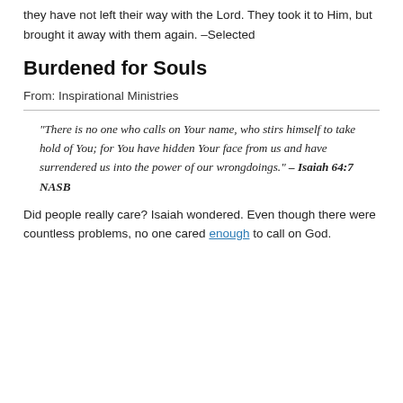they have not left their way with the Lord. They took it to Him, but brought it away with them again. –Selected
Burdened for Souls
From: Inspirational Ministries
“There is no one who calls on Your name, who stirs himself to take hold of You; for You have hidden Your face from us and have surrendered us into the power of our wrongdoings.” – Isaiah 64:7 NASB
Did people really care? Isaiah wondered. Even though there were countless problems, no one cared enough to call on God.